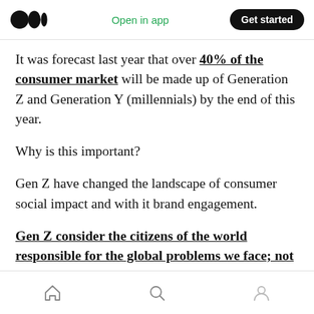Medium logo | Open in app | Get started
It was forecast last year that over 40% of the consumer market will be made up of Generation Z and Generation Y (millennials) by the end of this year.
Why is this important?
Gen Z have changed the landscape of consumer social impact and with it brand engagement.
Gen Z consider the citizens of the world responsible for the global problems we face; not NGOs or NPOs.
Home | Search | Profile